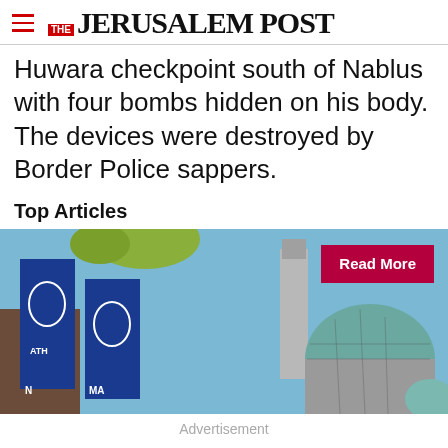THE JERUSALEM POST
Huwara checkpoint south of Nablus with four bombs hidden on his body. The devices were destroyed by Border Police sappers.
Top Articles
[Figure (photo): Photo of university banners with blue flags and a mosque/dome architecture in the background, with a 'Read More' button overlay]
Advertisement